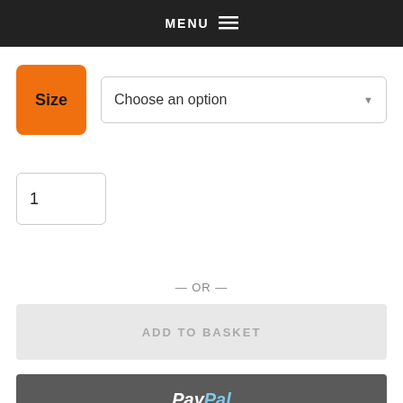MENU
Size  Choose an option
1
— OR —
ADD TO BASKET
PayPal